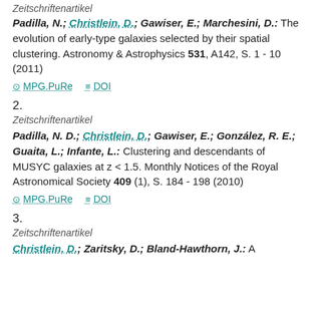Zeitschriftenartikel
Padilla, N.; Christlein, D.; Gawiser, E.; Marchesini, D.: The evolution of early-type galaxies selected by their spatial clustering. Astronomy & Astrophysics 531, A142, S. 1 - 10 (2011)
MPG.PuRe  DOI
2.
Zeitschriftenartikel
Padilla, N. D.; Christlein, D.; Gawiser, E.; González, R. E.; Guaita, L.; Infante, L.: Clustering and descendants of MUSYC galaxies at z < 1.5. Monthly Notices of the Royal Astronomical Society 409 (1), S. 184 - 198 (2010)
MPG.PuRe  DOI
3.
Zeitschriftenartikel
Christlein, D.; Zaritsky, D.; Bland-Hawthorn, J.: A